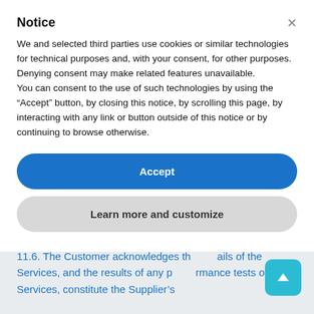Notice
We and selected third parties use cookies or similar technologies for technical purposes and, with your consent, for other purposes. Denying consent may make related features unavailable.
You can consent to the use of such technologies by using the "Accept" button, by closing this notice, by scrolling this page, by interacting with any link or button outside of this notice or by continuing to browse otherwise.
Accept
Learn more and customize
11.6. The Customer acknowledges th ails of the Services, and the results of any performance tests of the Services, constitute the Supplier's